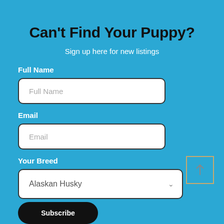Can't Find Your Puppy?
Sign up here for new listings
Full Name
Full Name
Email
Email
Your Breed
Alaskan Husky
[Figure (other): Back to top button with upward arrow, bordered in tan/gold color]
Subscribe